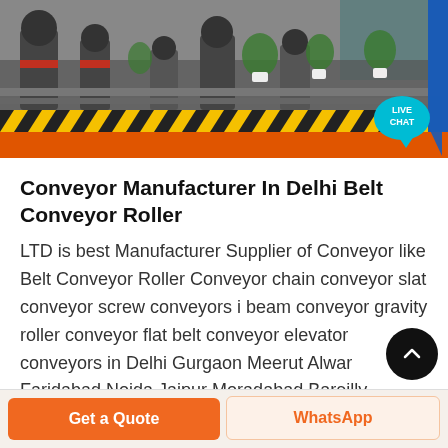[Figure (photo): Factory/industrial machinery background photo with yellow-black hazard stripes and orange bar at bottom. Live chat bubble in teal color on the right side.]
Conveyor Manufacturer In Delhi Belt Conveyor Roller
LTD is best Manufacturer Supplier of Conveyor like Belt Conveyor Roller Conveyor chain conveyor slat conveyor screw conveyors i beam conveyor gravity roller conveyor flat belt conveyor elevator conveyors in Delhi Gurgaon Meerut Alwar Faridabad Noida Jaipur Moradabad Bareilly Rohtak The foundation stone of our company was laid down
Get a Quote   WhatsApp